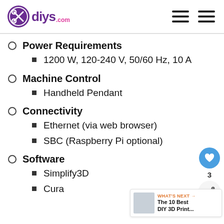diys.com
Power Requirements
1200 W, 120-240 V, 50/60 Hz, 10 A
Machine Control
Handheld Pendant
Connectivity
Ethernet (via web browser)
SBC (Raspberry Pi optional)
Software
Simplify3D
Cura